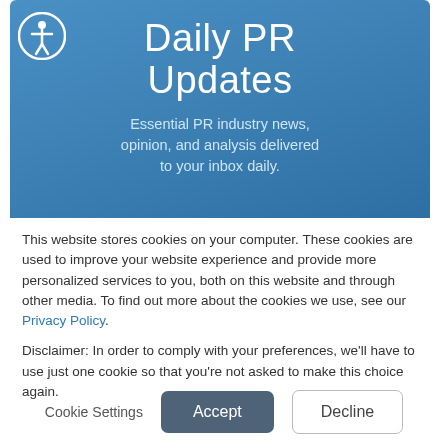[Figure (logo): Accessibility icon — white person with arms out in a circle, on transparent background, top-left of the blue banner]
Daily PR Updates
Essential PR industry news, opinion, and analysis delivered to your inbox daily.
This website stores cookies on your computer. These cookies are used to improve your website experience and provide more personalized services to you, both on this website and through other media. To find out more about the cookies we use, see our Privacy Policy.
Disclaimer: In order to comply with your preferences, we'll have to use just one cookie so that you're not asked to make this choice again.
Cookie Settings  Accept  Decline